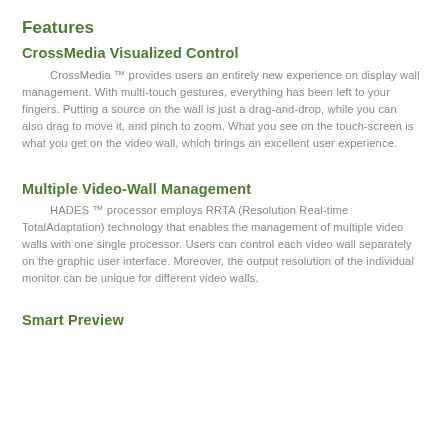Features
CrossMedia Visualized Control
CrossMedia ™ provides users an entirely new experience on display wall management. With multi-touch gestures, everything has been left to your fingers. Putting a source on the wall is just a drag-and-drop, while you can also drag to move it, and pinch to zoom. What you see on the touch-screen is what you get on the video wall, which brings an excellent user experience.
Multiple Video-Wall Management
HADES ™ processor employs RRTA (Resolution Real-time TotalAdaptation) technology that enables the management of multiple video walls with one single processor. Users can control each video wall separately on the graphic user interface. Moreover, the output resolution of the individual monitor can be unique for different video walls.
Smart Preview